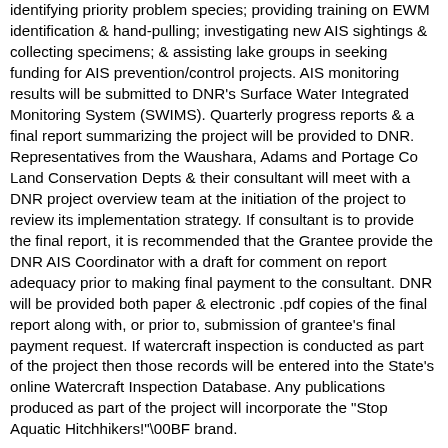identifying priority problem species; providing training on EWM identification & hand-pulling; investigating new AIS sightings & collecting specimens; & assisting lake groups in seeking funding for AIS prevention/control projects. AIS monitoring results will be submitted to DNR's Surface Water Integrated Monitoring System (SWIMS). Quarterly progress reports & a final report summarizing the project will be provided to DNR. Representatives from the Waushara, Adams and Portage Co Land Conservation Depts & their consultant will meet with a DNR project overview team at the initiation of the project to review its implementation strategy. If consultant is to provide the final report, it is recommended that the Grantee provide the DNR AIS Coordinator with a draft for comment on report adequacy prior to making final payment to the consultant. DNR will be provided both paper & electronic .pdf copies of the final report along with, or prior to, submission of grantee's final payment request. If watercraft inspection is conducted as part of the project then those records will be entered into the State's online Watercraft Inspection Database. Any publications produced as part of the project will incorporate the "Stop Aquatic Hitchhikers!"\00BF brand.